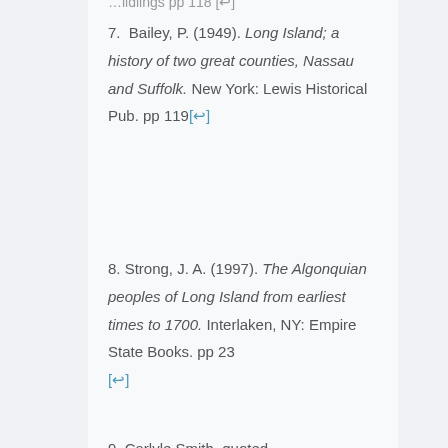7. Bailey, P. (1949). Long Island; a history of two great counties, Nassau and Suffolk. New York: Lewis Historical Pub. pp 119[↩]
8. Strong, J. A. (1997). The Algonquian peoples of Long Island from earliest times to 1700. Interlaken, NY: Empire State Books. pp 23 [↩]
9. Carlyle Smith, quoted